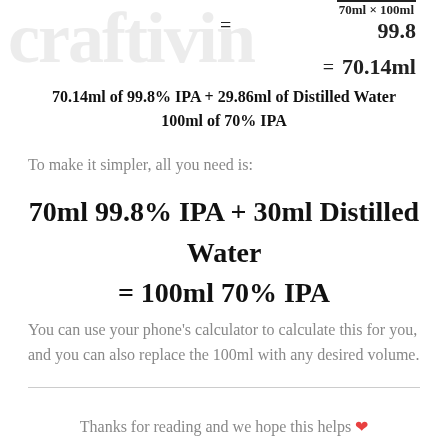70.14ml of 99.8% IPA + 29.86ml of Distilled Water
100ml of 70% IPA
To make it simpler, all you need is:
70ml 99.8% IPA + 30ml Distilled Water = 100ml 70% IPA
You can use your phone’s calculator to calculate this for you, and you can also replace the 100ml with any desired volume.
Thanks for reading and we hope this helps ❤